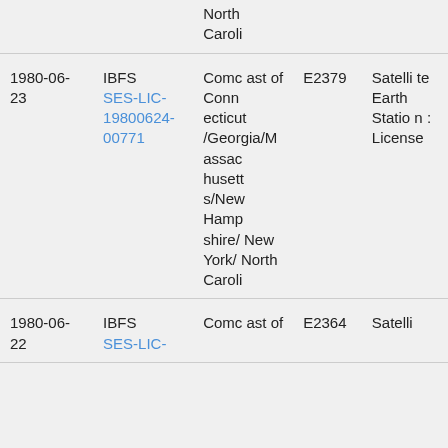| Date | System | Applicant | Call Sign / App ID | Type |
| --- | --- | --- | --- | --- |
|  |  | North Caroli |  |  |
| 1980-06-23 | IBFS SES-LIC-19800624-00771 | Comcast of Connecticut/Georgia/Massachusetts/New Hampshire/New York/North Caroli | E2379 | Satellite Earth Station : License |
| 1980-06-22 | IBFS SES-LIC-... | Comcast of ... | E2364 | Satelli... |